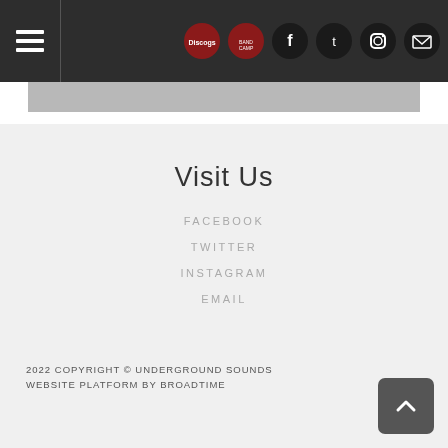Navigation header with hamburger menu and social icons: Discogs, Bandcamp, Facebook, Twitter, Instagram, Email
Visit Us
FACEBOOK
TWITTER
INSTAGRAM
EMAIL
2022 COPYRIGHT © UNDERGROUND SOUNDS
WEBSITE PLATFORM BY BROADTIME